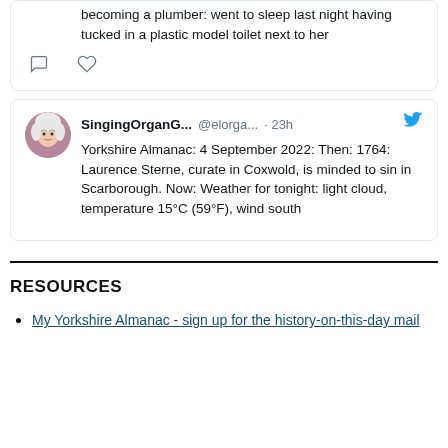becoming a plumber: went to sleep last night having tucked in a plastic model toilet next to her
SingingOrganG... @elorga... · 23h
Yorkshire Almanac: 4 September 2022: Then: 1764: Laurence Sterne, curate in Coxwold, is minded to sin in Scarborough. Now: Weather for tonight: light cloud, temperature 15°C (59°F), wind south
RESOURCES
My Yorkshire Almanac - sign up for the history-on-this-day mail